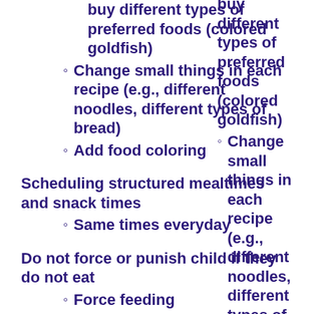buy different types of preferred foods (colored goldfish)
Change small things in each recipe (e.g., different noodles, different types of bread)
Add food coloring
Scheduling structured mealtimes and snack times
Same times everyday
Do not force or punish child if they do not eat
Force feeding